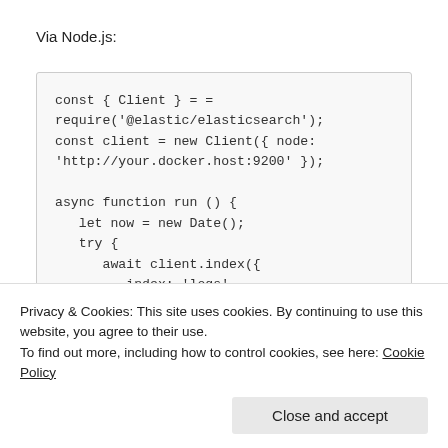Via Node.js:
[Figure (screenshot): Code block showing Node.js Elasticsearch client code: const { Client } = require('@elastic/elasticsearch'); const client = new Client({ node: 'http://your.docker.host:9200' }); async function run () { let now = new Date(); try { await client.index({ index: 'logs', body: { timestamp: now.toISOString(),]
Privacy & Cookies: This site uses cookies. By continuing to use this website, you agree to their use.
To find out more, including how to control cookies, see here: Cookie Policy
Close and accept